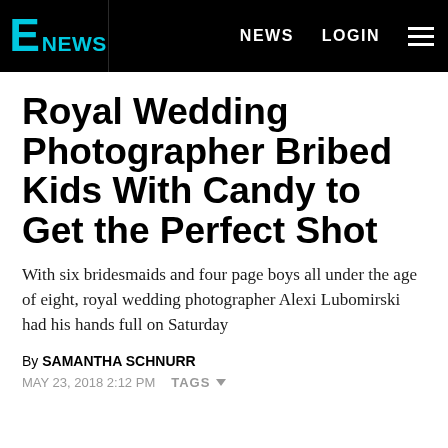E! NEWS  |  NEWS  LOGIN  ≡
Royal Wedding Photographer Bribed Kids With Candy to Get the Perfect Shot
With six bridesmaids and four page boys all under the age of eight, royal wedding photographer Alexi Lubomirski had his hands full on Saturday
By SAMANTHA SCHNURR
MAY 23, 2018 2:12 PM  TAGS ▾